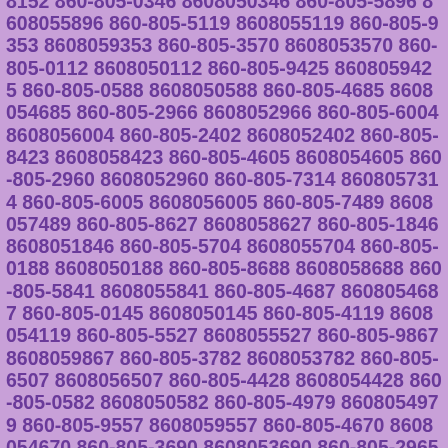860-805-1936 8608051936 860-805-8152 8608058152 860-805-0346 8608050346 860-805-5896 8608055896 860-805-5119 8608055119 860-805-9353 8608059353 860-805-3570 8608053570 860-805-0112 8608050112 860-805-9425 8608059425 860-805-0588 8608050588 860-805-4685 8608054685 860-805-2966 8608052966 860-805-6004 8608056004 860-805-2402 8608052402 860-805-8423 8608058423 860-805-4605 8608054605 860-805-2960 8608052960 860-805-7314 8608057314 860-805-6005 8608056005 860-805-7489 8608057489 860-805-8627 8608058627 860-805-1846 8608051846 860-805-5704 8608055704 860-805-0188 8608050188 860-805-8688 8608058688 860-805-5841 8608055841 860-805-4687 8608054687 860-805-0145 8608050145 860-805-4119 8608054119 860-805-5527 8608055527 860-805-9867 8608059867 860-805-3782 8608053782 860-805-6507 8608056507 860-805-4428 8608054428 860-805-0582 8608050582 860-805-4979 8608054979 860-805-9557 8608059557 860-805-4670 8608054670 860-805-3690 8608053690 860-805-2965 8608052965